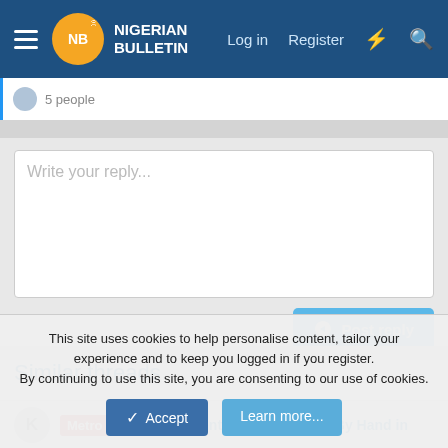Nigerian Bulletin — Log in  Register
5 people
Write your reply...
Post reply
Similar threads
Metro  UNIZIK Students Build Mini Bus By Hand in
This site uses cookies to help personalise content, tailor your experience and to keep you logged in if you register.
By continuing to use this site, you are consenting to our use of cookies.
Accept  Learn more...